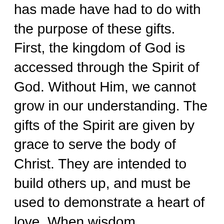has made have had to do with the purpose of these gifts. First, the kingdom of God is accessed through the Spirit of God. Without Him, we cannot grow in our understanding. The gifts of the Spirit are given by grace to serve the body of Christ. They are intended to build others up, and must be used to demonstrate a heart of love. When wisdom, knowledge, faith, healing, discernment, miracles, prophecy, languages of men and angels, and the interpretation of such, are utilized as God intended, the movement of God's power in love, clears the way and brings breakthrough so that His words may be heard and received by hearts moved by the power of God's amazing love made tangible. Another